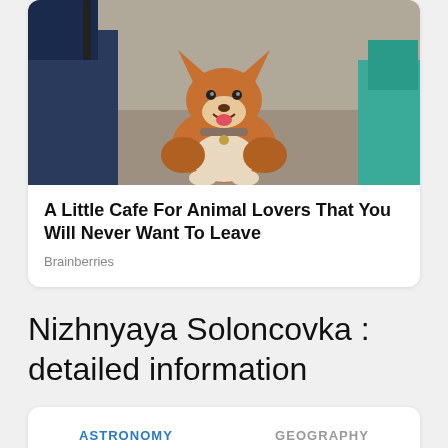[Figure (photo): A corgi dog sitting on a light concrete surface, surrounded by people sitting nearby. The dog is brown and white with a happy expression. People wearing jeans and colorful clothing are visible around it.]
A Little Cafe For Animal Lovers That You Will Never Want To Leave
Brainberries
Nizhnyaya Soloncovka : detailed information
ASTRONOMY	GEOGRAPHY